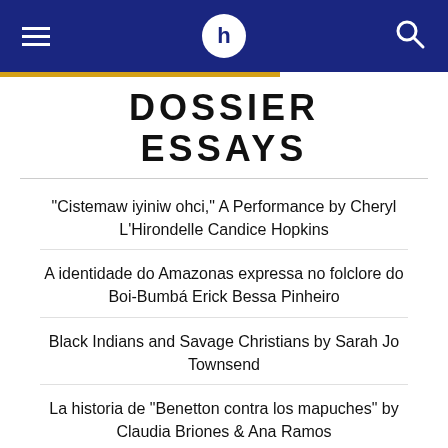h (logo)
DOSSIER ESSAYS
"Cistemaw iyiniw ohci," A Performance by Cheryl L'Hirondelle Candice Hopkins
A identidade do Amazonas expressa no folclore do Boi-Bumbá Erick Bessa Pinheiro
Black Indians and Savage Christians by Sarah Jo Townsend
La historia de "Benetton contra los mapuches" by Claudia Briones & Ana Ramos